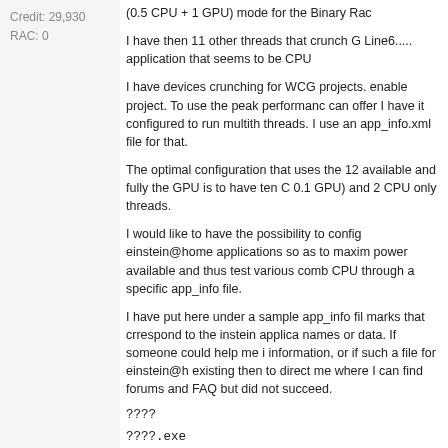Credit: 29,930
RAC: 0
(0.5 CPU + 1 GPU) mode for the Binary Rac
I have then 11 other threads that crunch G Line6..... application that seems to be CPU
I have devices crunching for WCG projects. enable project. To use the peak performanc can offer I have it configured to run multith threads. I use an app_info.xml file for that.
The optimal configuration that uses the 12 available and fully the GPU is to have ten C 0.1 GPU) and 2 CPU only threads.
I would like to have the possibility to config einstein@home applications so as to maxim power available and thus test various comb CPU through a specific app_info file.
I have put here under a sample app_info fil marks that crrespond to the instein applica names or data. If someone could help me i information, or if such a file for einstein@h existing then to direct me where I can find forums and FAQ but did not succeed.
????
????.exe